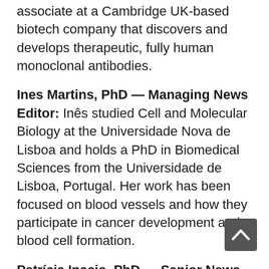associate at a Cambridge UK-based biotech company that discovers and develops therapeutic, fully human monoclonal antibodies.
Ines Martins, PhD — Managing News Editor: Inês studied Cell and Molecular Biology at the Universidade Nova de Lisboa and holds a PhD in Biomedical Sciences from the Universidade de Lisboa, Portugal. Her work has been focused on blood vessels and how they participate in cancer development and blood cell formation.
Patrícia Inacio, PhD — Senior News